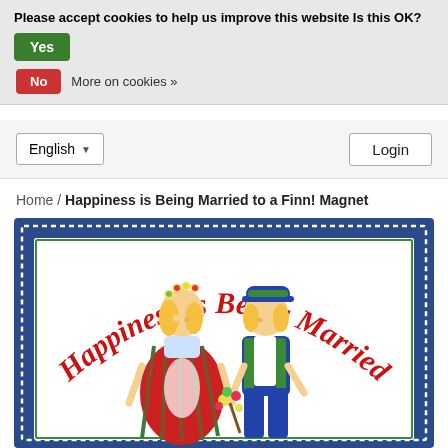Please accept cookies to help us improve this website Is this OK?  Yes  No  More on cookies »
English ▼   Login
Home / Happiness is Being Married to a Finn! Magnet
[Figure (illustration): Product image of a magnet with illustrated cartoon boy and girl in traditional Finnish folk costumes about to kiss, with curved red text reading 'Happiness is Being Married' arching over them, on a white background with green and blue borders and a dotted white frame on a blue border.]